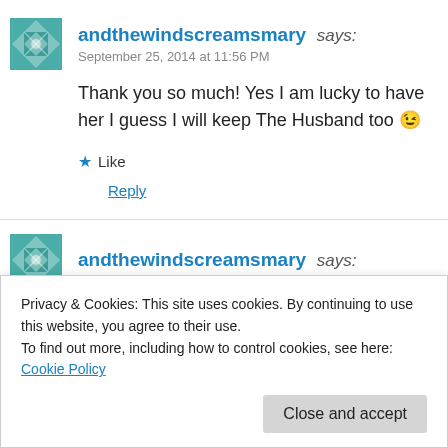andthewindscreamsmary says: September 25, 2014 at 11:56 PM
Thank you so much! Yes I am lucky to have her I guess I will keep The Husband too 😉
★ Like
Reply
andthewindscreamsmary says:
Privacy & Cookies: This site uses cookies. By continuing to use this website, you agree to their use. To find out more, including how to control cookies, see here: Cookie Policy
Close and accept